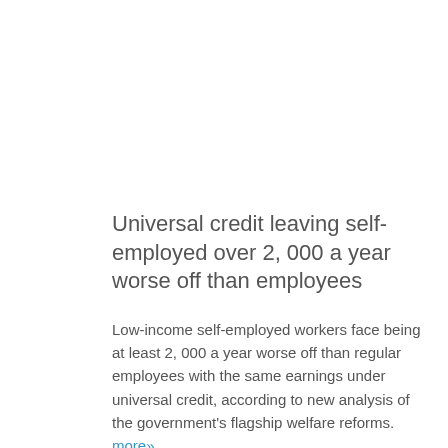Universal credit leaving self-employed over 2, 000 a year worse off than employees
Low-income self-employed workers face being at least 2, 000 a year worse off than regular employees with the same earnings under universal credit, according to new analysis of the government's flagship welfare reforms. more»
Payroll